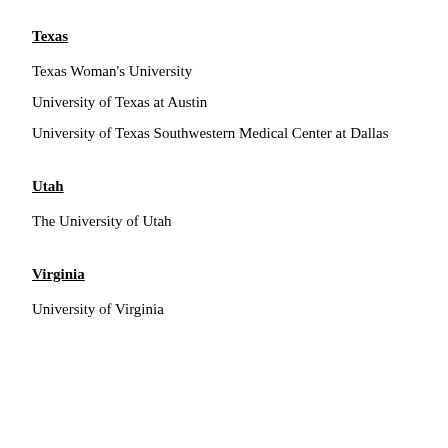Texas
Texas Woman's University
University of Texas at Austin
University of Texas Southwestern Medical Center at Dallas
Utah
The University of Utah
Virginia
University of Virginia